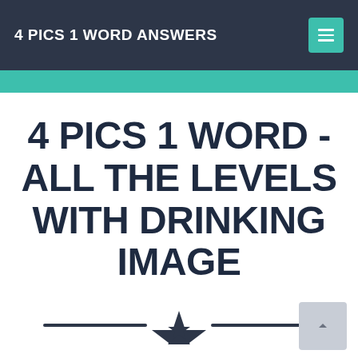4 PICS 1 WORD ANSWERS
4 PICS 1 WORD - ALL THE LEVELS WITH DRINKING IMAGE
[Figure (illustration): Decorative divider with a star icon flanked by two horizontal lines]